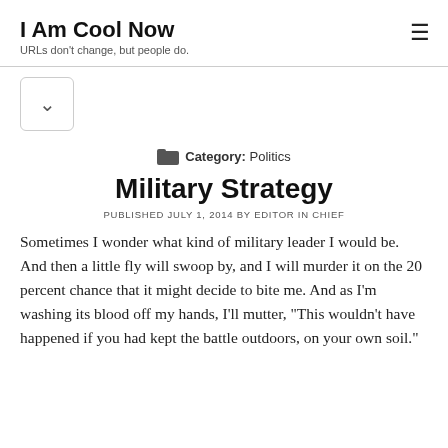I Am Cool Now
URLs don't change, but people do.
[Figure (other): Chevron/down-arrow button inside a rounded rectangle border]
Category: Politics
Military Strategy
PUBLISHED JULY 1, 2014 BY EDITOR IN CHIEF
Sometimes I wonder what kind of military leader I would be. And then a little fly will swoop by, and I will murder it on the 20 percent chance that it might decide to bite me. And as I'm washing its blood off my hands, I'll mutter, “This wouldn’t have happened if you had kept the battle outdoors, on your own soil.”